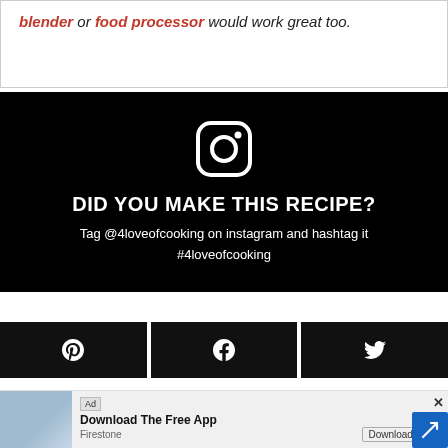blender or food processor would work great too.
[Figure (infographic): Instagram call-to-action block on black background with Instagram icon, heading 'DID YOU MAKE THIS RECIPE?' and subtext 'Tag @4loveofcooking on instagram and hashtag it #4loveofcooking']
[Figure (infographic): Social share buttons row: Pinterest, Facebook, Twitter icons on black buttons]
[Figure (infographic): Advertisement banner for Firestone app download with photo, Ad badge, title 'Download The Free App', brand 'Firestone', Download button, and close X button]